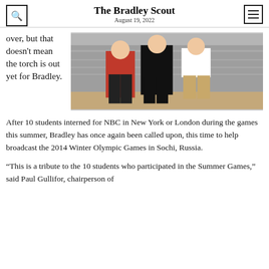The Bradley Scout
August 19, 2022
over, but that doesn't mean the torch is out yet for Bradley.
[Figure (photo): Three people standing outdoors near metal bleachers or fencing, two wearing red tops and one in lighter clothing.]
After 10 students interned for NBC in New York or London during the games this summer, Bradley has once again been called upon, this time to help broadcast the 2014 Winter Olympic Games in Sochi, Russia.
“This is a tribute to the 10 students who participated in the Summer Games,” said Paul Gullifor, chairperson of